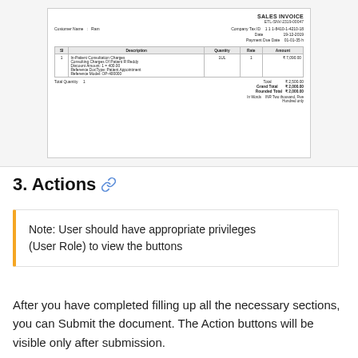[Figure (screenshot): Sales Invoice screenshot showing invoice ETL-SNV-2319-00047 for Customer Ram, dated 19-12-2019, with In-Patient Consultation Charges, Grand Total ₹2,000.00]
3. Actions 🔗
Note: User should have appropriate privileges (User Role) to view the buttons
After you have completed filling up all the necessary sections, you can Submit the document. The Action buttons will be visible only after submission.